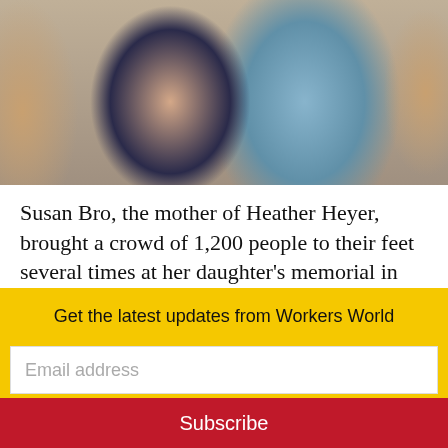[Figure (photo): A photograph being held by hands, showing two women — an older woman in a dark polka-dot dress with pearl necklace, and a younger woman in a light blue top.]
Susan Bro, the mother of Heather Heyer, brought a crowd of 1,200 people to their feet several times at her daughter's memorial in Charlottesville, Va., on Aug.16 as she honored her slain daughter's commitment to the fight for social justice. She stressed that her death should be seen as a call to action.
Get the latest updates from Workers World
Email address
Subscribe